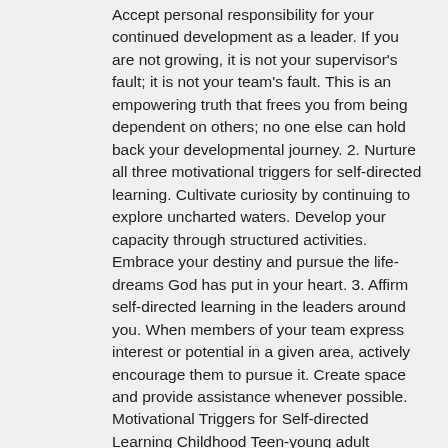Accept personal responsibility for your continued development as a leader. If you are not growing, it is not your supervisor's fault; it is not your team's fault. This is an empowering truth that frees you from being dependent on others; no one else can hold back your developmental journey. 2. Nurture all three motivational triggers for self-directed learning. Cultivate curiosity by continuing to explore uncharted waters. Develop your capacity through structured activities. Embrace your destiny and pursue the life-dreams God has put in your heart. 3. Affirm self-directed learning in the leaders around you. When members of your team express interest or potential in a given area, actively encourage them to pursue it. Create space and provide assistance whenever possible. Motivational Triggers for Self-directed Learning Childhood Teen-young adult Adulthood Curiosity-based Capacity-based Destiny-based Spontaneous Structured Systematic Focused on fun Focused on goals Focused on dreams